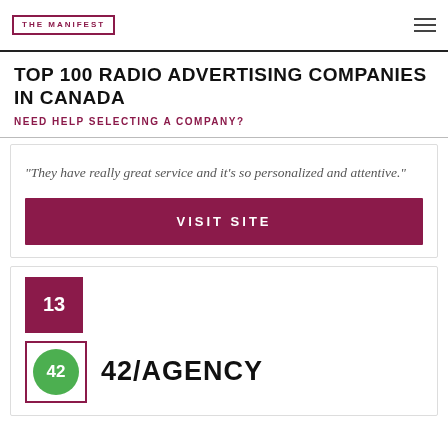THE MANIFEST
TOP 100 RADIO ADVERTISING COMPANIES IN CANADA
NEED HELP SELECTING A COMPANY?
"They have really great service and it's so personalized and attentive."
VISIT SITE
13
42/AGENCY